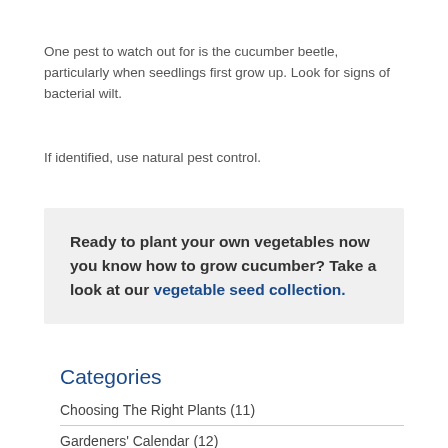One pest to watch out for is the cucumber beetle, particularly when seedlings first grow up. Look for signs of bacterial wilt.
If identified, use natural pest control.
Ready to plant your own vegetables now you know how to grow cucumber? Take a look at our vegetable seed collection.
Categories
Choosing The Right Plants (11)
Gardeners' Calendar (12)